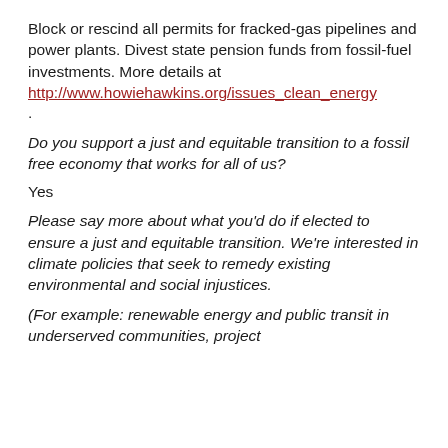Block or rescind all permits for fracked-gas pipelines and power plants. Divest state pension funds from fossil-fuel investments. More details at http://www.howiehawkins.org/issues_clean_energy.
.
Do you support a just and equitable transition to a fossil free economy that works for all of us?
Yes
Please say more about what you'd do if elected to ensure a just and equitable transition. We're interested in climate policies that seek to remedy existing environmental and social injustices.
(For example: renewable energy and public transit in underserved communities, project